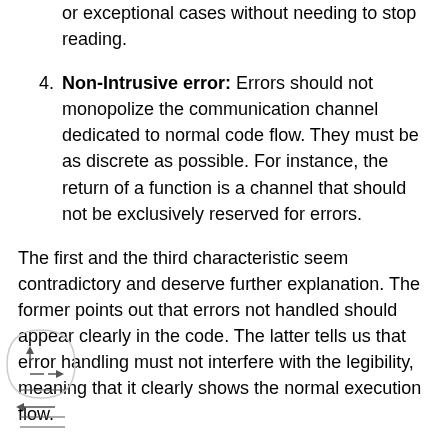or exceptional cases without needing to stop reading.
Non-Intrusive error: Errors should not monopolize the communication channel dedicated to normal code flow. They must be as discrete as possible. For instance, the return of a function is a channel that should not be exclusively reserved for errors.
The first and the third characteristic seem contradictory and deserve further explanation. The former points out that errors not handled should appear clearly in the code. The latter tells us that error handling must not interfere with the legibility, meaning that it clearly shows the normal execution flow.
Here is a comparison between the exception and return codes: